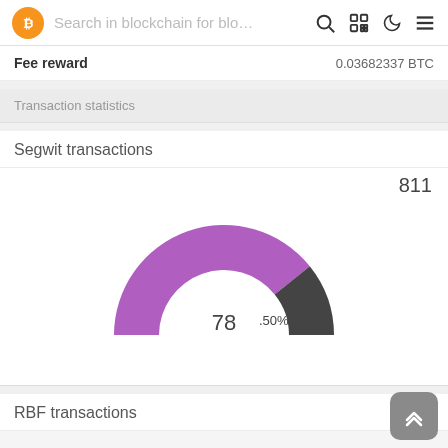Search in blockchain for blo…
Fee reward   0.03682337 BTC
Transaction statistics
Segwit transactions
811
[Figure (donut-chart): Segwit transactions]
RBF transactions